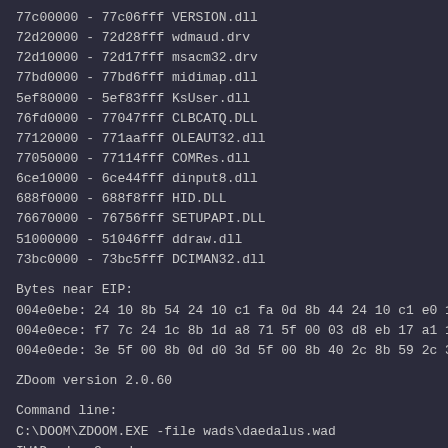77c00000 - 77c06fff VERSION.dll
72d20000 - 72d28fff wdmaud.drv
72d10000 - 72d17fff msacm32.drv
77bd0000 - 77bd6fff midimap.dll
5ef80000 - 5ef83fff KsUser.dll
76fd0000 - 77047fff CLBCATQ.DLL
77120000 - 771aafff OLEAUT32.dll
77050000 - 77114fff COMRes.dll
6ce10000 - 6ce44fff dinput8.dll
688f0000 - 688f8fff HID.DLL
76670000 - 76756fff SETUPAPI.DLL
51000000 - 51046fff ddraw.dll
73bc0000 - 73bc5fff DCIMAN32.dll
Bytes near EIP:
004e0ebe: 24 10 8b 54 24 10 c1 fa 0d 8b 44 24 10 c1 e0 13
004e0ece: f7 7c 24 1c 8b 1d a8 71 5f 00 03 d8 eb 17 a1 1c
004e0ede: 3e 5f 00 8b 0d d0 3d 5f 00 8b 40 2c 8b 59 2c 3b
ZDoom version 2.0.60
Command line:
C:\DOOM\ZDOOM.EXE -file wads\daedalus.wad
IWAD: doom2.wad